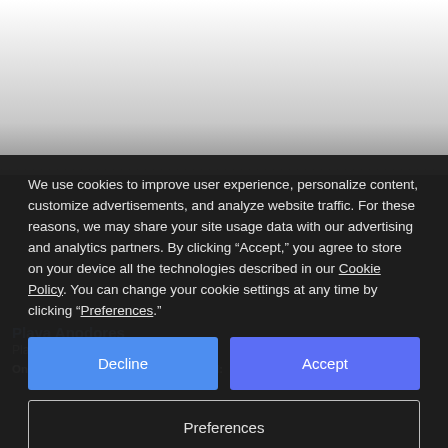[Figure (screenshot): Top portion of a webpage showing a white-to-gray gradient background, partially visible beneath a cookie consent overlay.]
We use cookies to improve user experience, personalize content, customize advertisements, and analyze website traffic. For these reasons, we may share your site usage data with our advertising and analytics partners. By clicking “Accept,” you agree to store on your device all the technologies described in our Cookie Policy. You can change your cookie settings at any time by clicking “Preferences.”
Decline
Accept
Preferences
Playa Anodores
Playa A...
On 12/05/2022 at 10:18, Walxa003 said: